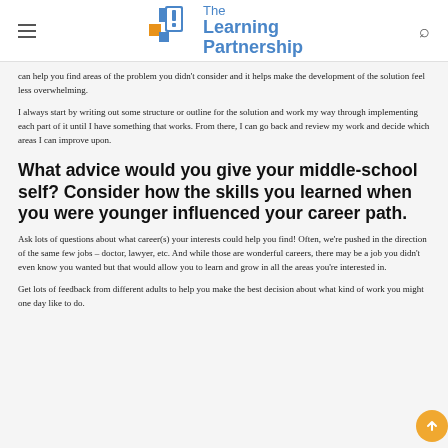The Learning Partnership
can help you find areas of the problem you didn't consider and it helps make the development of the solution feel less overwhelming.
I always start by writing out some structure or outline for the solution and work my way through implementing each part of it until I have something that works. From there, I can go back and review my work and decide which areas I can improve upon.
What advice would you give your middle-school self? Consider how the skills you learned when you were younger influenced your career path.
Ask lots of questions about what career(s) your interests could help you find! Often, we're pushed in the direction of the same few jobs – doctor, lawyer, etc. And while those are wonderful careers, there may be a job you didn't even know you wanted but that would allow you to learn and grow in all the areas you're interested in.
Get lots of feedback from different adults to help you make the best decision about what kind of work you might one day like to do.